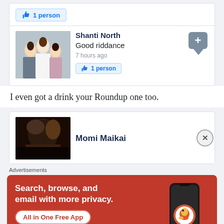[Figure (screenshot): Facebook comment with thumbs-up '1 person' like button at top]
[Figure (screenshot): Facebook comment by Shanti North saying 'Good riddance', 7 hours ago, liked by 1 person, with profile photo of group of women]
I even got a drink your Roundup one too.
[Figure (screenshot): Facebook comment card showing Momi Maikai with profile photo, partially visible]
Advertisements
[Figure (infographic): DuckDuckGo advertisement banner: 'Search, browse, and email with more privacy. All in One Free App' with phone mockup and DuckDuckGo logo]